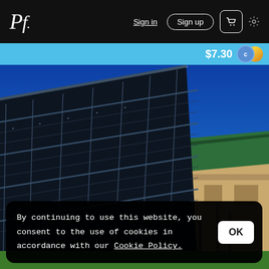Pf. | Sign in | Sign up | cart | settings
$7.30
[Figure (photo): Solar panels angled against a bright blue sky, with a building featuring a green roof visible in the background. Large photovoltaic panel array in the foreground.]
By continuing to use this website, you consent to the use of cookies in accordance with our Cookie Policy.
OK